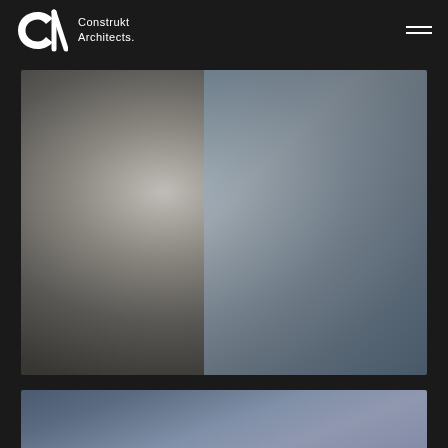[Figure (logo): Construkt Architects logo with CA monogram and text 'Construkt Architects.']
[Figure (other): Hamburger menu icon — three horizontal white lines]
[Figure (photo): Large blurred architectural photograph with gray and blue tones, gradient from warm gray on left to cool blue-gray on right]
[Figure (photo): Partially visible second photograph at bottom with blue-gray gradient tones]